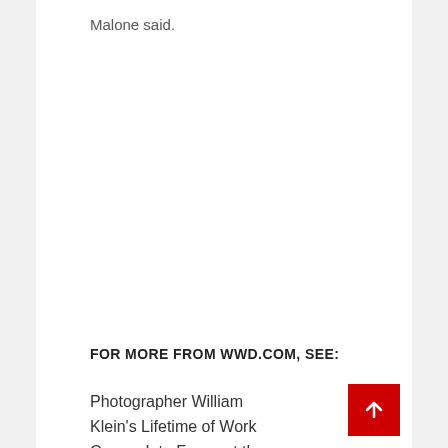Malone said.
FOR MORE FROM WWD.COM, SEE:
Photographer William Klein's Lifetime of Work Comes Into Focus at the ICP